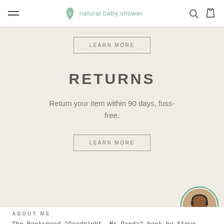natural baby shower
LEARN MORE
RETURNS
Return your item within 90 days, fuss-free.
LEARN MORE
[Figure (photo): Customer support agent avatar - woman with headset in circular frame with teal border]
ABOUT ME
The Bookspeed "Goodnight, Mr Panda" book by Steve